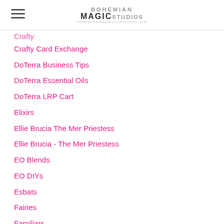Bohemian Magic Studios — www.bohemianmagicstudios.com
Crafty Card Exchange
DoTerra Business Tips
DoTerra Essential Oils
DoTerra LRP Cart
Elixirs
Ellie Brucia The Mer Priestess
Ellie Brucia - The Mer Priestess
EO Blends
EO DIYs
Esbats
Fairies
Familiars
Features
Fine Art & Illustration
Full Buck Moon
Full Moons
Full Moon Tea Parties